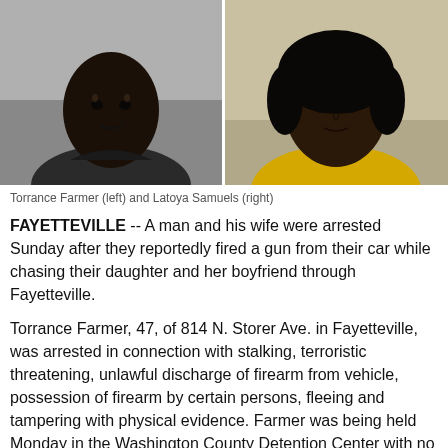[Figure (photo): Two mugshot photos side by side: Torrance Farmer (left) in dark shirt against gray wall, and Latoya Samuels (right) in yellow shirt against beige background.]
Torrance Farmer (left) and Latoya Samuels (right)
FAYETTEVILLE -- A man and his wife were arrested Sunday after they reportedly fired a gun from their car while chasing their daughter and her boyfriend through Fayetteville.
Torrance Farmer, 47, of 814 N. Storer Ave. in Fayetteville, was arrested in connection with stalking, terroristic threatening, unlawful discharge of firearm from vehicle, possession of firearm by certain persons, fleeing and tampering with physical evidence. Farmer was being held Monday in the Washington County Detention Center with no bond set.
Latoya Samuels, 41, of 4546 W. Sweetgum Lane in